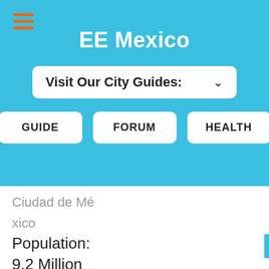EE Mexico
Visit Our City Guides:
GUIDE
FORUM
HEALTH
Ciudad de México
Population:
9.2 Million
(20+ M metropolitan area)
Location: